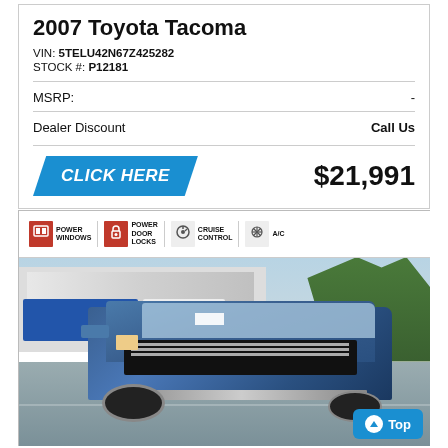2007 Toyota Tacoma
VIN: 5TELU42N67Z425282
STOCK #: P12181
| MSRP: | - |
| Dealer Discount | Call Us |
CLICK HERE
$21,991
[Figure (photo): Photo of a blue Chevrolet Silverado pickup truck in a dealership parking lot. The top of the image shows feature icons: Power Windows, Power Door Locks, Cruise Control, A/C. A 'Top' button appears in the bottom-right corner.]